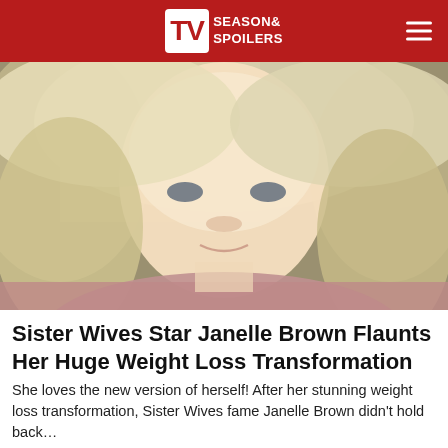TV Season & Spoilers
[Figure (photo): Close-up portrait of a blonde woman wearing a pink top, looking at the camera with a slight smile. Background shows a wooden furniture piece.]
Sister Wives Star Janelle Brown Flaunts Her Huge Weight Loss Transformation
She loves the new version of herself! After her stunning weight loss transformation, Sister Wives fame Janelle Brown didn't hold back…
TV Season Spoilers